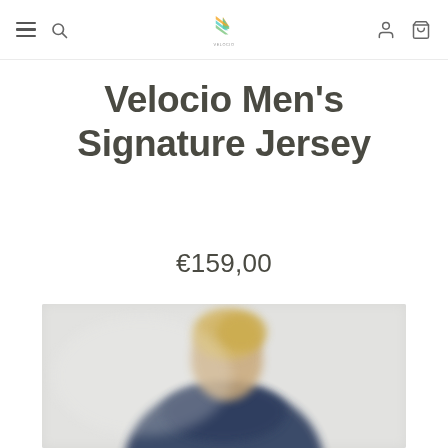Navigation bar with hamburger menu, search, logo, user account, and cart icons
Velocio Men's Signature Jersey
€159,00
[Figure (photo): Blurred photo of a man with blonde hair wearing a navy blue cycling jersey, shown from behind/side against a light grey background]